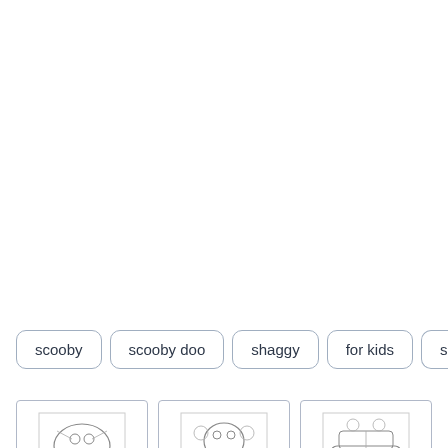scooby
scooby doo
shaggy
for kids
scoo
[Figure (illustration): Thumbnail sketch of Scooby-Doo characters, leftmost, line art style]
[Figure (illustration): Thumbnail sketch of Scooby-Doo character group, center, line art style]
[Figure (illustration): Thumbnail sketch of Scooby-Doo vehicle/character scene, rightmost, line art style]